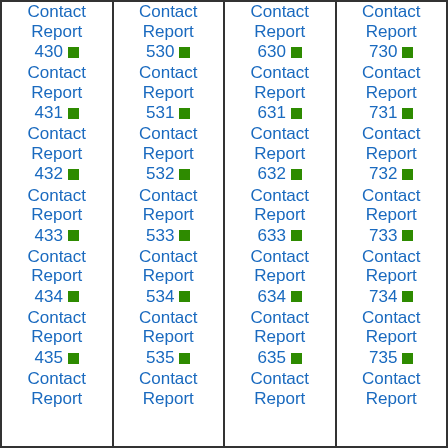Contact Report 430
Contact Report 431
Contact Report 432
Contact Report 433
Contact Report 434
Contact Report 435
Contact Report 530
Contact Report 531
Contact Report 532
Contact Report 533
Contact Report 534
Contact Report 535
Contact Report 630
Contact Report 631
Contact Report 632
Contact Report 633
Contact Report 634
Contact Report 635
Contact Report 730
Contact Report 731
Contact Report 732
Contact Report 733
Contact Report 734
Contact Report 735